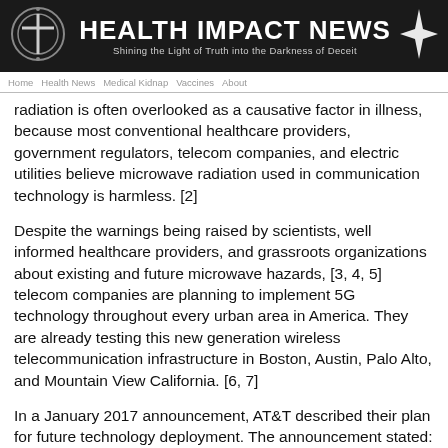[Figure (logo): Health Impact News banner with logo: circular cross emblem on left, bold white text 'HEALTH IMPACT NEWS' in center, subtitle 'Shining the Light of Truth into the Darkness of Deceit', starburst icon on right, all on dark background.]
navigation bar with links
radiation is often overlooked as a causative factor in illness, because most conventional healthcare providers, government regulators, telecom companies, and electric utilities believe microwave radiation used in communication technology is harmless. [2]
Despite the warnings being raised by scientists, well informed healthcare providers, and grassroots organizations about existing and future microwave hazards, [3, 4, 5] telecom companies are planning to implement 5G technology throughout every urban area in America. They are already testing this new generation wireless telecommunication infrastructure in Boston, Austin, Palo Alto, and Mountain View California. [6, 7]
In a January 2017 announcement, AT&T described their plan for future technology deployment. The announcement stated: